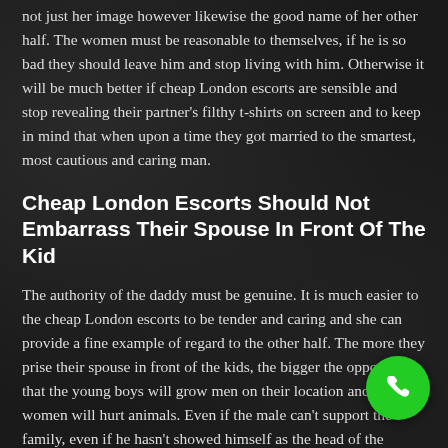not just her image however likewise the good name of her other half. The women must be reasonable to themselves, if he is so bad they should leave him and stop living with him. Otherwise it will be much better if cheap London escorts are sensible and stop revealing their partner's filthy t-shirts on screen and to keep in mind that when upon a time they got married to the smartest, most cautious and caring man.
Cheap London Escorts Should Not Embarrass Their Spouse In Front Of The Kid
The authority of the daddy must be genuine. It is much easier to the cheap London escorts to be tender and caring and she can provide a fine example of regard to the other half. The more they prise their spouse in front of the kids, the bigger the opportunity that the young boys will grow men on their location and the women will hurt animals. Even if the male can't support the family, even if he hasn't showed himself as the head of the family the cheap London escorts shouldn't discuss their relations in front the kids. It is apparent that the woman in your home have a great deal of duties that is seen as an easy task to deal with. Cheap
[Figure (other): Green circular phone/call button in bottom-right corner]